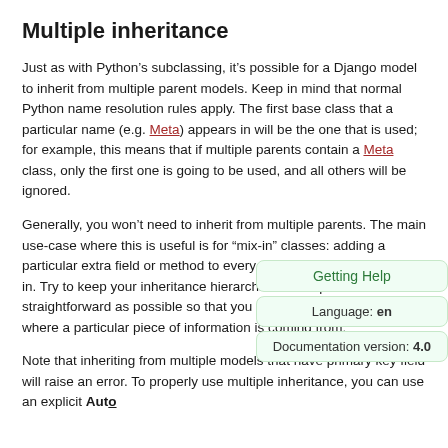Multiple inheritance
Just as with Python’s subclassing, it’s possible for a Django model to inherit from multiple parent models. Keep in mind that normal Python name resolution rules apply. The first base class that a particular name (e.g. Meta) appears in will be the one that is used; for example, this means that if multiple parents contain a Meta class, only the first one is going to be used, and all others will be ignored.
Generally, you won’t need to inherit from multiple parents. The main use-case where this is useful is for “mix-in” classes: adding a particular extra field or method to every class that inherits the mix-in. Try to keep your inheritance hierarchies as simple and straightforward as possible so that you won’t have t… work out where a particular piece of information is c…
Note that inheriting from multiple models that have… primary key field will raise an error. To properly use multiple inheritance, you can use an explicit Aut…